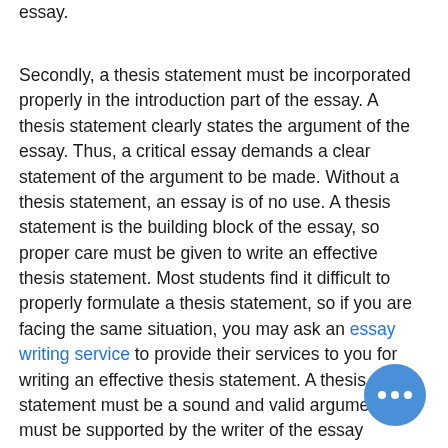essay.
Secondly, a thesis statement must be incorporated properly in the introduction part of the essay. A thesis statement clearly states the argument of the essay. Thus, a critical essay demands a clear statement of the argument to be made. Without a thesis statement, an essay is of no use. A thesis statement is the building block of the essay, so proper care must be given to write an effective thesis statement. Most students find it difficult to properly formulate a thesis statement, so if you are facing the same situation, you may ask an essay writing service to provide their services to you for writing an effective thesis statement. A thesis statement must be a sound and valid argument that must be supported by the writer of the essay throughout the work. Minor arguments or claims in the paragraphs